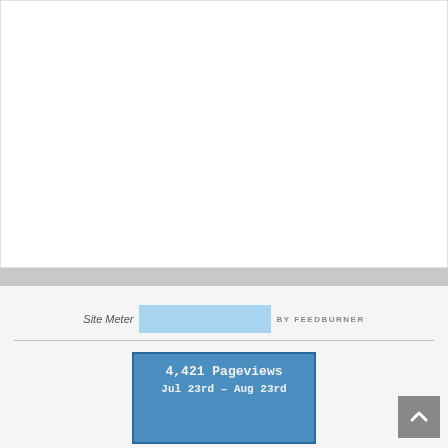[Figure (other): Large white content area, likely a blog post or sidebar widget area, mostly blank white rectangle with light border and gray textured band below]
[Figure (logo): Site Meter logo image placeholder with FeedBurner banner (light blue rectangle with 'BY FEEDBURNER' text) next to it]
[Figure (infographic): Blue stats box showing '4,421 Pageviews Jul 23rd - Aug 23rd' with a world map below showing visitor locations marked with red dots]
[Figure (other): Scroll-to-top button, gray square with white upward chevron arrow, positioned bottom right]